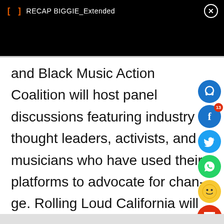RECAP BIGGIE_Extended
and Black Music Action Coalition will host panel discussions featuring industry thought leaders, activists, and musicians who have used their platforms to advocate for change. Rolling Loud California will display curated art installations with messages promoting social change, will promote fundraisin
[Figure (screenshot): Social media share/reaction icons overlay on right side: headphone icon (blue), Facebook icon (blue) with badge '13', Twitter icon (light blue), WhatsApp icon (green), laughing emoji icon (yellow), comment icon (red), share icon (red)]